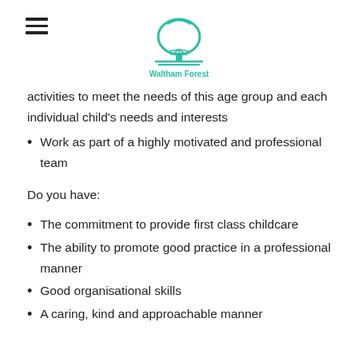[Figure (logo): Waltham Forest council logo: teal/green tree icon above a horizontal line, with 'Waltham Forest' text in teal below]
activities to meet the needs of this age group and each individual child's needs and interests
Work as part of a highly motivated and professional team
Do you have:
The commitment to provide first class childcare
The ability to promote good practice in a professional manner
Good organisational skills
A caring, kind and approachable manner